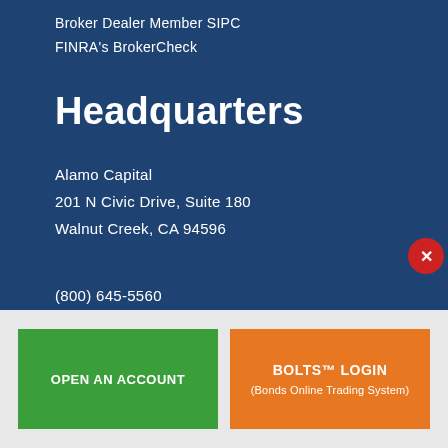Broker Dealer Member SIPC
FINRA's BrokerCheck
Headquarters
Alamo Capital
201 N Civic Drive, Suite 180
Walnut Creek, CA 94596
(800) 645-5560
(925) 532-1677
OPEN AN ACCOUNT
BOLTS™ LOGIN
(Bonds Online Trading System)